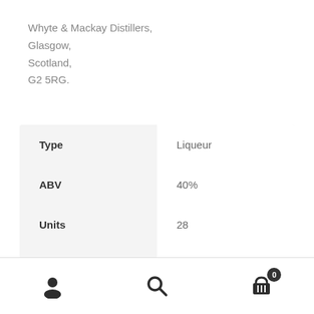Whyte & Mackay Distillers,
Glasgow,
Scotland,
G2 5RG.
| Type | Liqueur |
| --- | --- |
| ABV | 40% |
| Units | 28 |
| Country of Origin | Scotland |